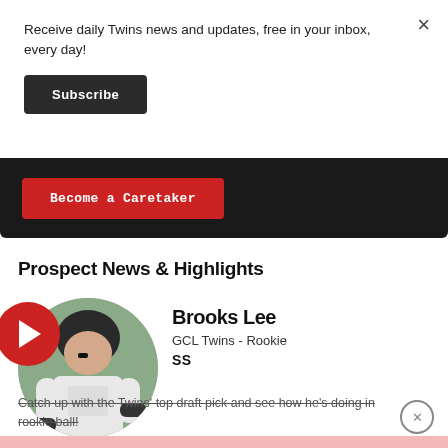Receive daily Twins news and updates, free in your inbox, every day!
Subscribe
Become a Caretaker
Prospect News & Highlights
[Figure (photo): Circular photo of Brooks Lee, a baseball prospect in batting helmet and gear, appearing to be in a college uniform. A red circular play button icon is visible at left edge.]
Brooks Lee
GCL Twins - Rookie
SS
Catch up with the Twins' top draft pick and see how he's doing in rookie ball!